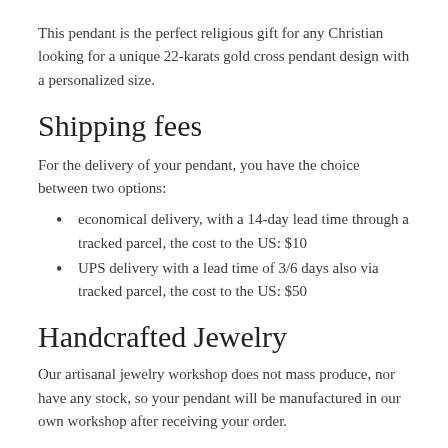This pendant is the perfect religious gift for any Christian looking for a unique 22-karats gold cross pendant design with a personalized size.
Shipping fees
For the delivery of your pendant, you have the choice between two options:
economical delivery, with a 14-day lead time through a tracked parcel, the cost to the US: $10
UPS delivery with a lead time of 3/6 days also via tracked parcel, the cost to the US: $50
Handcrafted Jewelry
Our artisanal jewelry workshop does not mass produce, nor have any stock, so your pendant will be manufactured in our own workshop after receiving your order.